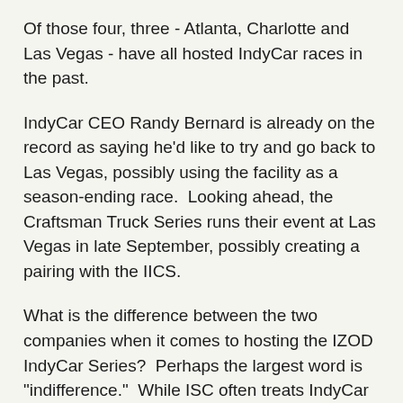Of those four, three - Atlanta, Charlotte and Las Vegas - have all hosted IndyCar races in the past.
IndyCar CEO Randy Bernard is already on the record as saying he'd like to try and go back to Las Vegas, possibly using the facility as a season-ending race.  Looking ahead, the Craftsman Truck Series runs their event at Las Vegas in late September, possibly creating a pairing with the IICS.
What is the difference between the two companies when it comes to hosting the IZOD IndyCar Series?  Perhaps the largest word is "indifference."  While ISC often treats IndyCar Series races as the red-headed stepchild of their racing schedule, SMI has reached out and actively promoted the series.
At New Hampshire, Dario Franchitti was allowed to showcase the IZOD IndyCar Series with a lap prior to the track's NASCAR race.  Texas Motor Speedway hosted a major press conference later tonight with Bernard and Helio Castroneves in attendance at the House of Blues in Dallas.